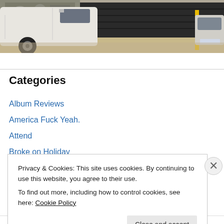[Figure (photo): Street scene with a white van parked on the left, a dark garage door with graffiti-style mural in the background, and the front of a white Toyota car on the right side. Urban environment.]
Categories
Album Reviews
America Fuck Yeah.
Attend
Broke on Holiday
Eyes & Ears
Privacy & Cookies: This site uses cookies. By continuing to use this website, you agree to their use.
To find out more, including how to control cookies, see here: Cookie Policy
Close and accept